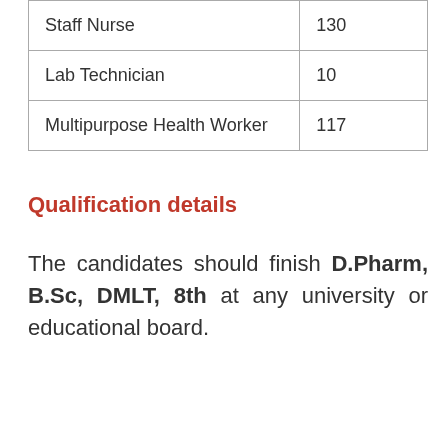| Staff Nurse | 130 |
| Lab Technician | 10 |
| Multipurpose Health Worker | 117 |
Qualification details
The candidates should finish D.Pharm, B.Sc, DMLT, 8th at any university or educational board.